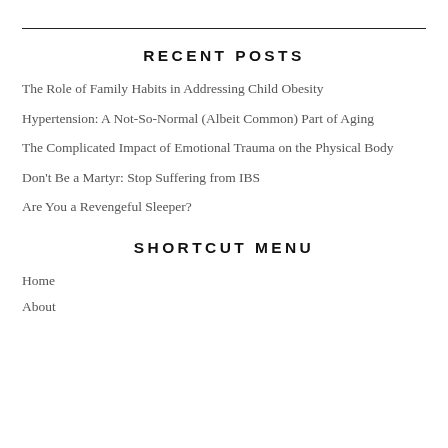RECENT POSTS
The Role of Family Habits in Addressing Child Obesity
Hypertension: A Not-So-Normal (Albeit Common) Part of Aging
The Complicated Impact of Emotional Trauma on the Physical Body
Don't Be a Martyr: Stop Suffering from IBS
Are You a Revengeful Sleeper?
SHORTCUT MENU
Home
About